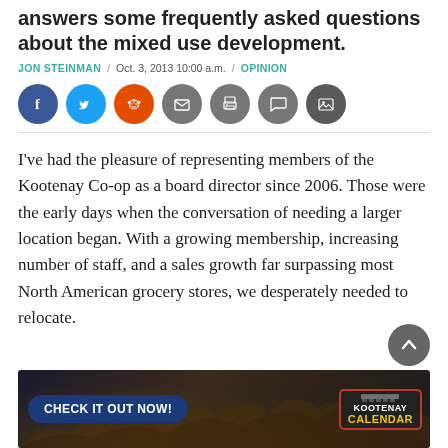answers some frequently asked questions about the mixed use development.
JON STEINMAN / Oct. 3, 2013 10:00 a.m. / OPINION
[Figure (infographic): Social media sharing icons: Facebook (blue), Twitter (light blue), Reddit (orange), Email (grey), Print (grey), Comment (grey), Gallery (dark grey)]
I've had the pleasure of representing members of the Kootenay Co-op as a board director since 2006. Those were the early days when the conversation of needing a larger location began. With a growing membership, increasing number of staff, and a sales growth far surpassing most North American grocery stores, we desperately needed to relocate.
[Figure (infographic): Advertisement banner: CHECK IT OUT NOW! button on the left, KOOTENAY CALENDAR logo on the right, crowd background]